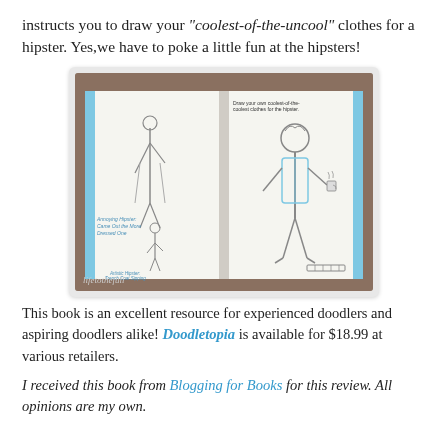instructs you to draw your "coolest-of-the-uncool" clothes for a hipster. Yes,we have to poke a little fun at the hipsters!
[Figure (photo): An open book showing illustrated doodle pages featuring hipster character drawings with labels. The left page shows 'Annoying Hipster: Came Out the More Dressed One' and the right page shows a hipster figure with a coffee cup. Watermark reads 'lifetothefull'.]
This book is an excellent resource for experienced doodlers and aspiring doodlers alike! Doodletopia is available for $18.99 at various retailers.
I received this book from Blogging for Books for this review. All opinions are my own.